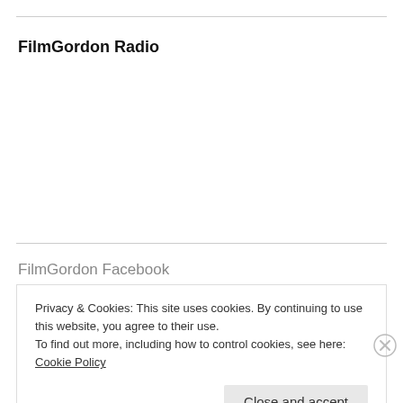FilmGordon Radio
FilmGordon Facebook
Privacy & Cookies: This site uses cookies. By continuing to use this website, you agree to their use.
To find out more, including how to control cookies, see here: Cookie Policy
Close and accept
filmgordon.co